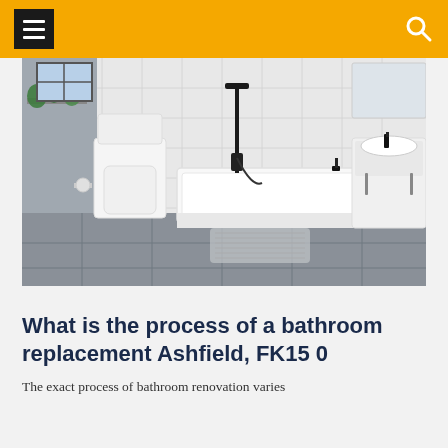Navigation header with menu icon and search icon
[Figure (photo): A modern bathroom showing a white toilet, white bathtub, black shower fixtures, white vanity unit with sink, white subway tile walls, and grey slate-look floor tiles. Green plants are visible on a shelf near a window.]
What is the process of a bathroom replacement Ashfield, FK15 0
The exact process of bathroom renovation varies